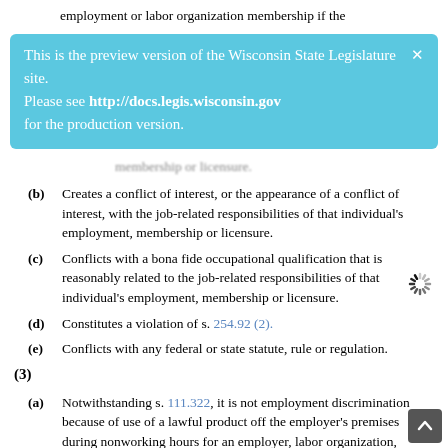employment or labor organization membership if the
[Figure (infographic): Preview banner overlay: 'This is the preview version of the Wisconsin State Legislature site. Please see http://docs.legis.wisconsin.gov for the production version.' with close X button, styled in light blue/cyan background with white text.]
membership or licensure.
(b) Creates a conflict of interest, or the appearance of a conflict of interest, with the job-related responsibilities of that individual's employment, membership or licensure.
(c) Conflicts with a bona fide occupational qualification that is reasonably related to the job-related responsibilities of that individual's employment, membership or licensure.
(d) Constitutes a violation of s. 254.92 (2).
(e) Conflicts with any federal or state statute, rule or regulation.
(3)
(a) Notwithstanding s. 111.322, it is not employment discrimination because of use of a lawful product off the employer's premises during nonworking hours for an employer, labor organization, employment agency, licensing agency or other person to offer a policy or plan of life, health or disability insurance coverage under which the type of coverage or the price of coverage for an individual who uses a lawful product off the employer's premises during nonworking hours differs from the type of coverage or the